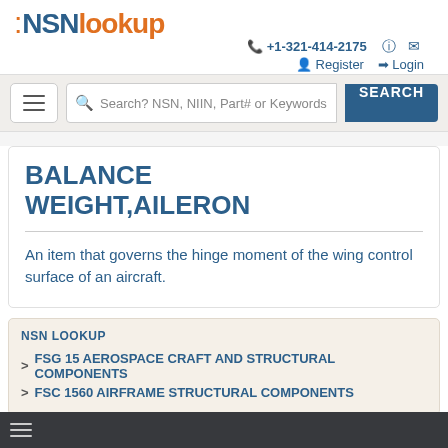NSN Lookup
+1-321-414-2175  Register  Login
Search? NSN, NIIN, Part# or Keywords  SEARCH
BALANCE WEIGHT,AILERON
An item that governs the hinge moment of the wing control surface of an aircraft.
NSN LOOKUP
> FSG 15 AEROSPACE CRAFT AND STRUCTURAL COMPONENTS
> FSC 1560 AIRFRAME STRUCTURAL COMPONENTS